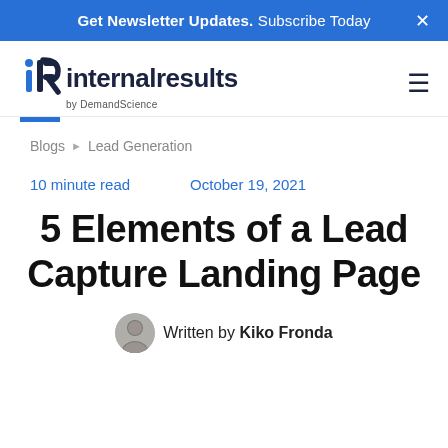Get Newsletter Updates. Subscribe Today
[Figure (logo): Internal Results by DemandScience logo with stylized IR icon]
Blogs ▶ Lead Generation
10 minute read   October 19, 2021
5 Elements of a Lead Capture Landing Page
Written by Kiko Fronda